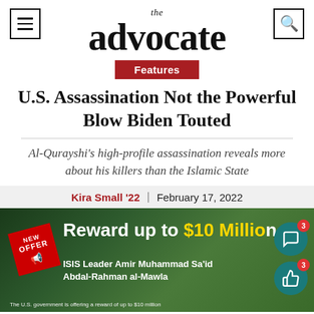the advocate
Features
U.S. Assassination Not the Powerful Blow Biden Touted
Al-Qurayshi's high-profile assassination reveals more about his killers than the Islamic State
Kira Small '22 | February 17, 2022
[Figure (photo): Reward poster image: 'Reward up to $10 Million' for ISIS Leader Amir Muhammad Sa'id Abdal-Rahman al-Mawla, with NEW OFFER badge in red and small print about U.S. government reward.]